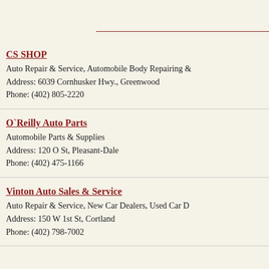CS SHOP
Auto Repair & Service, Automobile Body Repairing &
Address: 6039 Cornhusker Hwy., Greenwood
Phone: (402) 805-2220
O`Reilly Auto Parts
Automobile Parts & Supplies
Address: 120 O St, Pleasant-Dale
Phone: (402) 475-1166
Vinton Auto Sales & Service
Auto Repair & Service, New Car Dealers, Used Car D
Address: 150 W 1st St, Cortland
Phone: (402) 798-7002